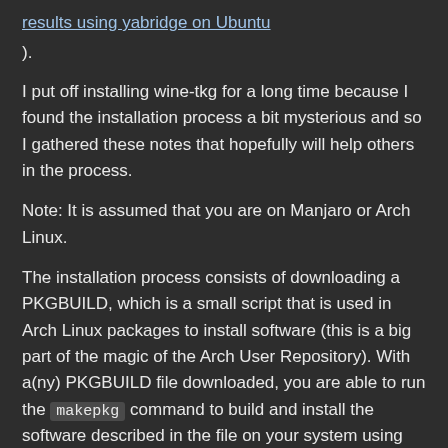results using yabridge on Ubuntu).
I put off installing wine-tkg for a long time because I found the installation process a bit mysterious and so I gathered these notes that hopefully will help others in the process.
Note: It is assumed that you are on Manjaro or Arch Linux.
The installation process consists of downloading a PKGBUILD, which is a small script that is used in Arch Linux packages to install software (this is a big part of the magic of the Arch User Repository). With a(ny) PKGBUILD file downloaded, you are able to run the makepkg command to build and install the software described in the file on your system using pacman . An added benefit of this is that this allows your system to keep track of the installation.